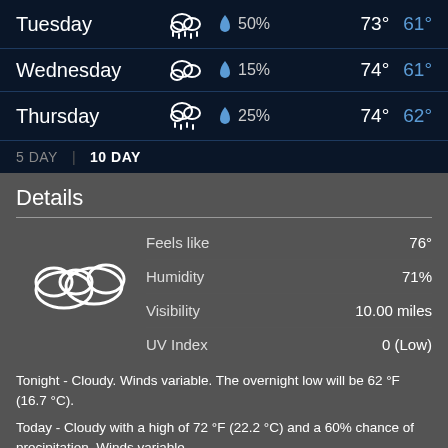| Day | Condition | Precipitation | High | Low |
| --- | --- | --- | --- | --- |
| Tuesday | rainy cloud icon | 50% | 73° | 61° |
| Wednesday | cloud icon | 15% | 74° | 61° |
| Thursday | rainy cloud icon | 25% | 74° | 62° |
5 DAY | 10 DAY
Details
| Detail | Value |
| --- | --- |
| Feels like | 76° |
| Humidity | 71% |
| Visibility | 10.00 miles |
| UV Index | 0 (Low) |
Tonight - Cloudy. Winds variable. The overnight low will be 62 °F (16.7 °C).
Today - Cloudy with a high of 72 °F (22.2 °C) and a 60% chance of precipitation. Winds variable.